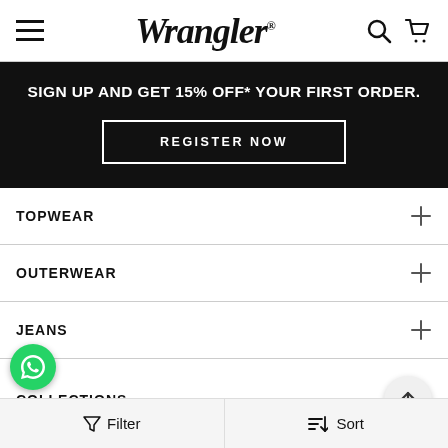Wrangler
SIGN UP AND GET 15% OFF* YOUR FIRST ORDER.
REGISTER NOW
TOPWEAR
OUTERWEAR
JEANS
COLLECTIONS
SALE
Filter  Sort